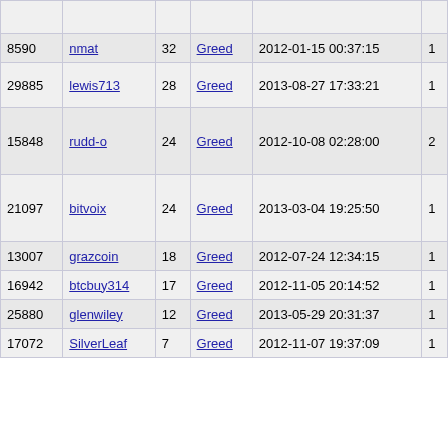|  |  |  |  |  |  |
| --- | --- | --- | --- | --- | --- |
| 8590 | nmat | 32 | Greed | 2012-01-15 00:37:15 | 1 |
| 29885 | lewis713 | 28 | Greed | 2013-08-27 17:33:21 | 1 |
| 15848 | rudd-o | 24 | Greed | 2012-10-08 02:28:00 | 2 |
| 21097 | bitvoix | 24 | Greed | 2013-03-04 19:25:50 | 1 |
| 13007 | grazcoin | 18 | Greed | 2012-07-24 12:34:15 | 1 |
| 16942 | btcbuy314 | 17 | Greed | 2012-11-05 20:14:52 | 1 |
| 25880 | glenwiley | 12 | Greed | 2013-05-29 20:31:37 | 1 |
| 17072 | SilverLeaf | 7 | Greed | 2012-11-07 19:37:09 | 1 |